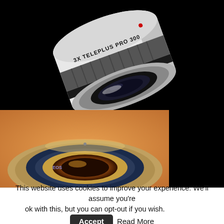[Figure (photo): Top photograph: A white camera teleconverter lens labeled '3X TELEPLUS PRO 300' shown at an angle against a black background, with a grey ribbed grip band and silver/chrome mount end with glass lens element visible.]
[Figure (photo): Bottom photograph: Close-up of a camera lens mount/extender showing the circular chrome ring and golden-tinted glass lens element, photographed against a warm orange/golden background.]
This website uses cookies to improve your experience. We'll assume you're ok with this, but you can opt-out if you wish.
Accept
Read More